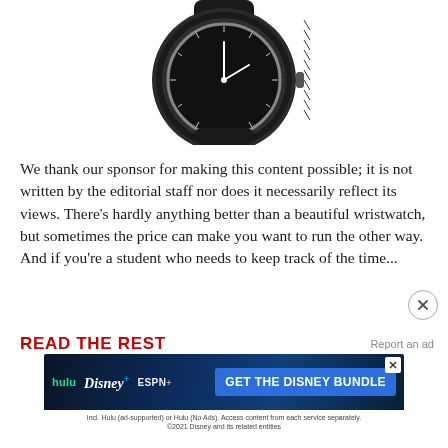[Figure (photo): Partial view of a black smartwatch/wristwatch with a dark band, showing the watch face from above, cropped at the top]
We thank our sponsor for making this content possible; it is not written by the editorial staff nor does it necessarily reflect its views. There's hardly anything better than a beautiful wristwatch, but sometimes the price can make you want to run the other way. And if you're a student who needs to keep track of the time...
READ THE REST
[Figure (other): Disney Bundle advertisement banner showing Hulu, Disney+, and ESPN+ logos with 'GET THE DISNEY BUNDLE' call to action and fine print about subscription terms]